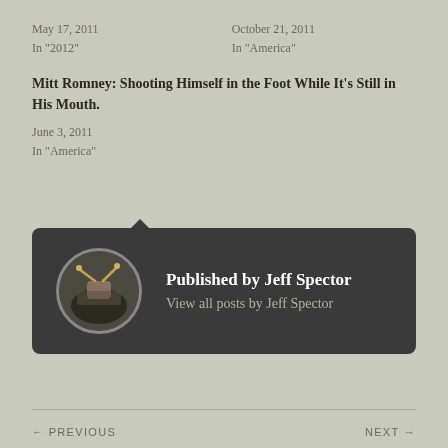May 17, 2011
In "2012"
October 21, 2011
In "America"
Mitt Romney: Shooting Himself in the Foot While It's Still in His Mouth.
June 3, 2011
In "America"
Published by Jeff Spector
View all posts by Jeff Spector
← PREVIOUS   NEXT →